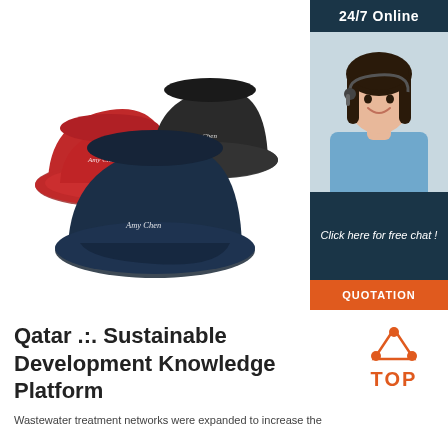[Figure (photo): Three bucket hats in red, black, and navy blue with script embroidery, displayed on white background]
[Figure (infographic): 24/7 Online chat widget with female agent wearing headset, 'Click here for free chat!' text and orange QUOTATION button]
Qatar .:. Sustainable Development Knowledge Platform
[Figure (logo): TOP logo with orange triangle/dots above text]
Wastewater treatment networks were expanded to increase the